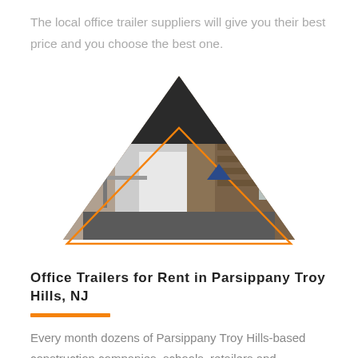The local office trailer suppliers will give you their best price and you choose the best one.
[Figure (illustration): Triangle-shaped clipped photo of a modern office trailer interior with wood paneling, kitchenette and seating. Overlaid with an orange outline triangle and a blue solid triangle logo mark in the center.]
Office Trailers for Rent in Parsippany Troy Hills, NJ
Every month dozens of Parsippany Troy Hills-based construction companies, schools, retailers and companies needed temporary executive or sales offices come to